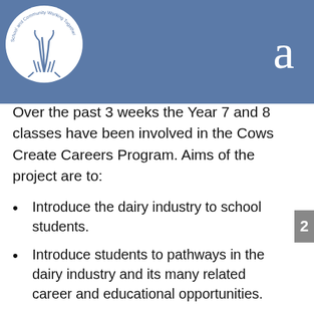[Figure (logo): School and Community Working Together circular logo with plant/grass illustration on white circle, on blue header bar]
a
Over the past 3 weeks the Year 7 and 8 classes have been involved in the Cows Create Careers Program. Aims of the project are to:
Introduce the dairy industry to school students.
Introduce students to pathways in the dairy industry and its many related career and educational opportunities.
Give students a hands-on experience working with calves.
Provide industry advocates and farmers to